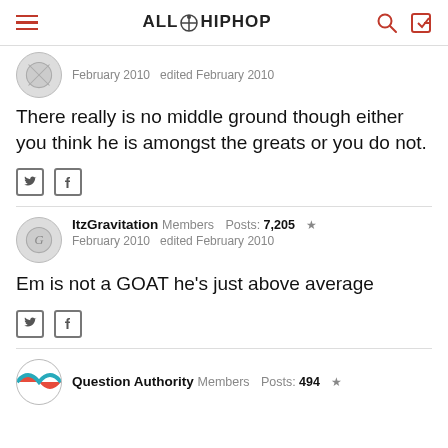ALLHIPHOP
February 2010   edited February 2010
There really is no middle ground though either you think he is amongst the greats or you do not.
ItzGravitation   Members   Posts: 7,205  ★
February 2010   edited February 2010
Em is not a GOAT he's just above average
Question Authority   Members   Posts: 494  ★